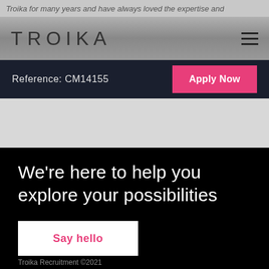Troika for many years and have always loved the expertise and
[Figure (logo): TROIKA logo in uppercase letters with geometric/outline style font, gray metallic appearance]
Reference: CM14155
Apply Now
We’re here to help you explore your possibilities
Say hello
Troika Recruitment ©2021